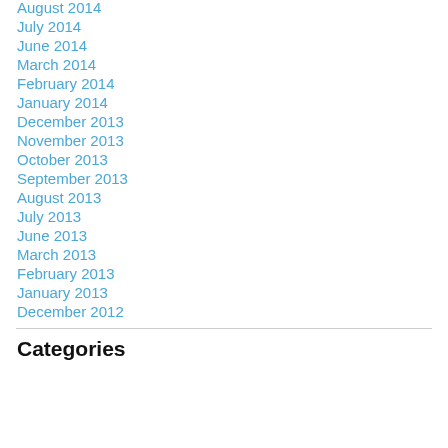August 2014
July 2014
June 2014
March 2014
February 2014
January 2014
December 2013
November 2013
October 2013
September 2013
August 2013
July 2013
June 2013
March 2013
February 2013
January 2013
December 2012
Categories